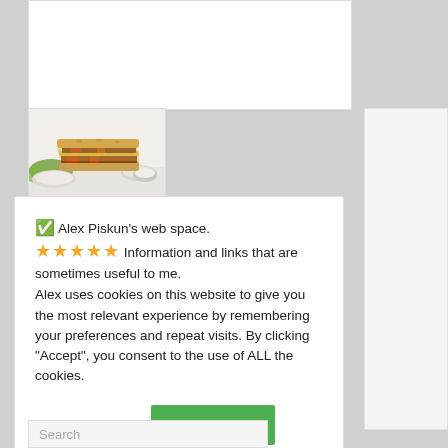[Figure (photo): Stacked quesadilla or layered flatbread sandwiches with meat and vegetables filling, served with small dipping bowls on a white surface]
✅ Alex Piskun's web space.
⭐⭐⭐⭐⭐ Information and links that are sometimes useful to me.
Alex uses cookies on this website to give you the most relevant experience by remembering your preferences and repeat visits. By clicking "Accept", you consent to the use of ALL the cookies.
Cookie settings
ACCEPT
Search